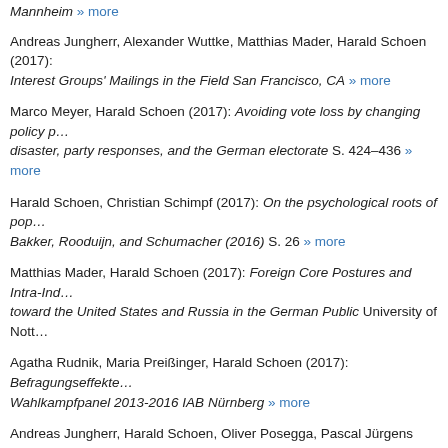Mannheim » more
Andreas Jungherr, Alexander Wuttke, Matthias Mader, Harald Schoen (2017): Interest Groups' Mailings in the Field San Francisco, CA » more
Marco Meyer, Harald Schoen (2017): Avoiding vote loss by changing policy positions. Electoral disaster, party responses, and the German electorate S. 424–436 » more
Harald Schoen, Christian Schimpf (2017): On the psychological roots of populism. A comment on Bakker, Rooduijn, and Schumacher (2016) S. 26 » more
Matthias Mader, Harald Schoen (2017): Foreign Core Postures and Intra-Individual Stability of Attitudes toward the United States and Russia in the German Public University of Nottingham
Agatha Rudnik, Maria Preißinger, Harald Schoen (2017): Befragungseffekte im Wahlkampfpanel 2013-2016 IAB Nürnberg » more
Andreas Jungherr, Harald Schoen, Oliver Posegga, Pascal Jürgens (2017): of Public Opinion: An Indicator of Attention Toward Politics Rather than Politics
Emmy Lindstam, Matthias Mader, Harald Schoen (2017): National Identities and The Evolution of German Citizens' Normative Conceptions of the Nation and and the Refugee Crisis University of Copenhagen » more